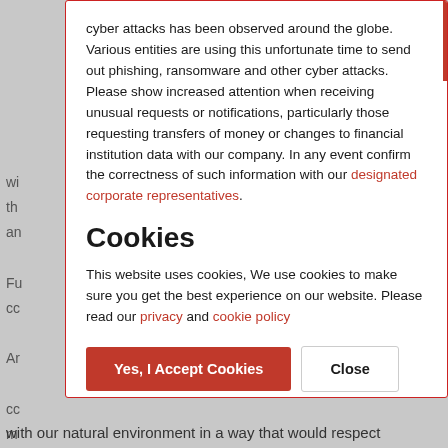cyber attacks has been observed around the globe. Various entities are using this unfortunate time to send out phishing, ransomware and other cyber attacks. Please show increased attention when receiving unusual requests or notifications, particularly those requesting transfers of money or changes to financial institution data with our company. In any event confirm the correctness of such information with our designated corporate representatives.
Cookies
This website uses cookies, We use cookies to make sure you get the best experience on our website. Please read our privacy and cookie policy
with our natural environment in a way that would respect